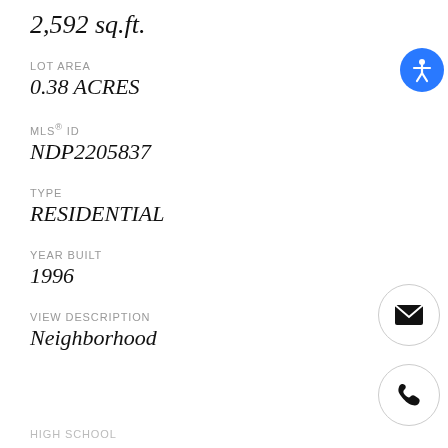2,592 sq.ft.
LOT AREA
0.38 ACRES
MLS® ID
NDP2205837
TYPE
RESIDENTIAL
YEAR BUILT
1996
VIEW DESCRIPTION
Neighborhood
HIGH SCHOOL